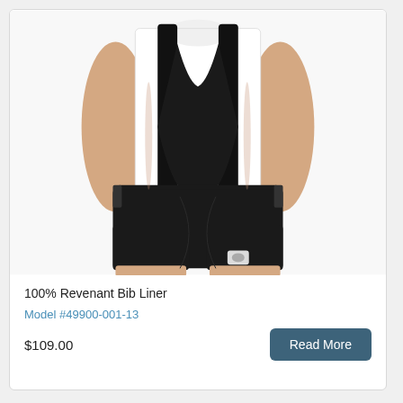[Figure (photo): Product photo of a person wearing 100% Revenant Bib Liner cycling shorts with black bib straps over a white sleeveless shirt, shown from torso down.]
100% Revenant Bib Liner
Model #49900-001-13
$109.00